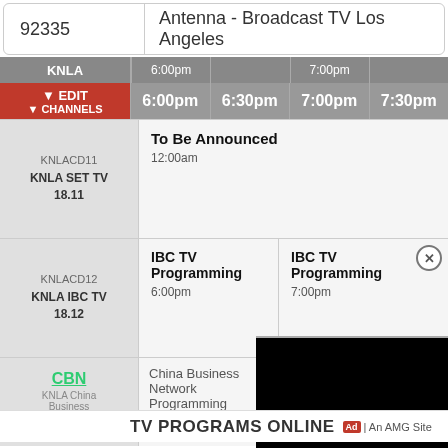92335
Antenna - Broadcast TV Los Angeles
| Channel | 6:00pm | 6:30pm | 7:00pm | 7:30pm |
| --- | --- | --- | --- | --- |
| KNLACD11 / KNLA SET TV 18.11 | To Be Announced 12:00am |  |  |  |
| KNLACD12 / KNLA IBC TV 18.12 | IBC TV Programming 6:00pm |  | IBC TV Programming 7:00pm |  |
| CBN / KNLA China Business Netw 18.14 | China Business Network Programming 6:00pm |  | China Business Network Programming 7:00pm |  |
[Figure (screenshot): Video player overlay showing black screen with close button]
TV PROGRAMS ONLINE
Ad | An AMG Site